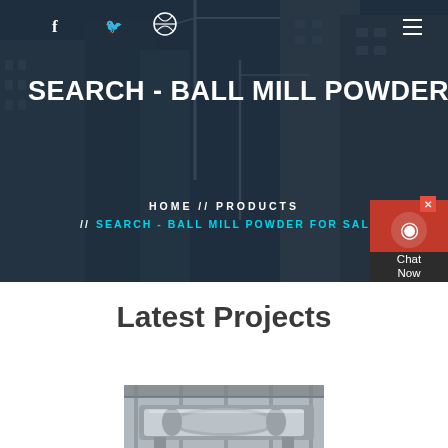[Figure (screenshot): Hero banner with construction site background showing cranes and buildings under dark overlay. Contains website navigation icons (Facebook, Twitter, Dribbble), hamburger menu, large white heading text, and breadcrumb navigation.]
SEARCH - BALL MILL POWDER F
HOME // PRODUCTS // SEARCH - BALL MILL POWDER FOR SALE
[Figure (illustration): Chat Now widget with red background, headset icon, and dark label area]
Latest Projects
[Figure (photo): Industrial machinery photograph showing ball mill or similar heavy equipment inside a facility]